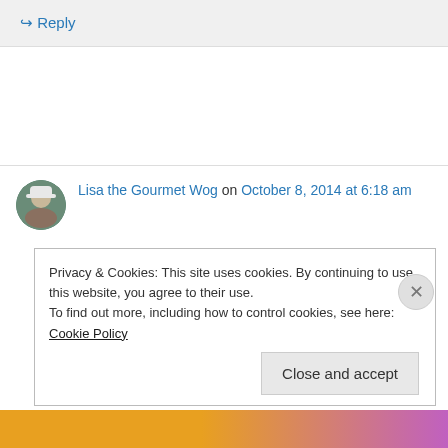↳ Reply
Lisa the Gourmet Wog on October 8, 2014 at 6:18 am
Mmm duck! John! How are you?! Love love love the pic of the doggy staring at the ravioli lol
Privacy & Cookies: This site uses cookies. By continuing to use this website, you agree to their use.
To find out more, including how to control cookies, see here: Cookie Policy
Close and accept